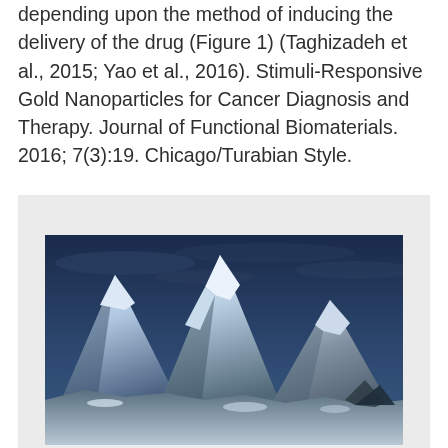depending upon the method of inducing the delivery of the drug (Figure 1) (Taghizadeh et al., 2015; Yao et al., 2016). Stimuli-Responsive Gold Nanoparticles for Cancer Diagnosis and Therapy. Journal of Functional Biomaterials. 2016; 7(3):19. Chicago/Turabian Style.
[Figure (photo): Photograph of snow-covered mountain peaks under a dark blue cloudy sky, showing rugged rocky terrain with snow and ice.]